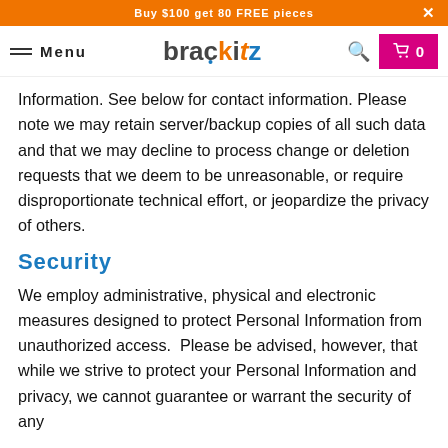Buy $100 get 80 FREE pieces
Menu  brackitz  0
Information. See below for contact information. Please note we may retain server/backup copies of all such data and that we may decline to process change or deletion requests that we deem to be unreasonable, or require disproportionate technical effort, or jeopardize the privacy of others.
Security
We employ administrative, physical and electronic measures designed to protect Personal Information from unauthorized access.  Please be advised, however, that while we strive to protect your Personal Information and privacy, we cannot guarantee or warrant the security of any